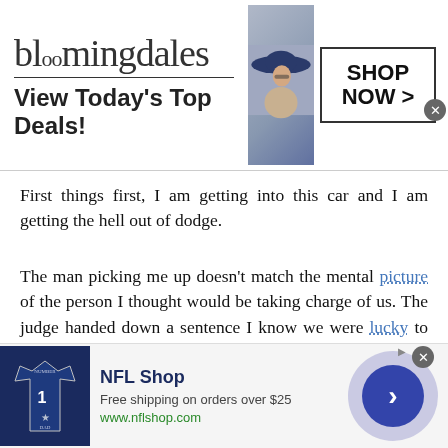[Figure (screenshot): Bloomingdale's advertisement banner with logo, 'View Today's Top Deals!' text, woman in hat, and 'SHOP NOW >' button]
First things first, I am getting into this car and I am getting the hell out of dodge.
The man picking me up doesn't match the mental picture of the person I thought would be taking charge of us. The judge handed down a sentence I know we were lucky to get. Jonah and I are technically British citizens because our mom was, and our bio dad was too. But we were born and raised in America. So I was kind of expecting to be deported back to the States. Then some old friend of the family, a priest, petitioned the judge to have us released into his custody as a kind of probation deal, and for some reason the judge agreed. I am not asking too many
[Figure (screenshot): NFL Shop advertisement with jersey image, 'Free shipping on orders over $25', www.nflshop.com, and arrow button]